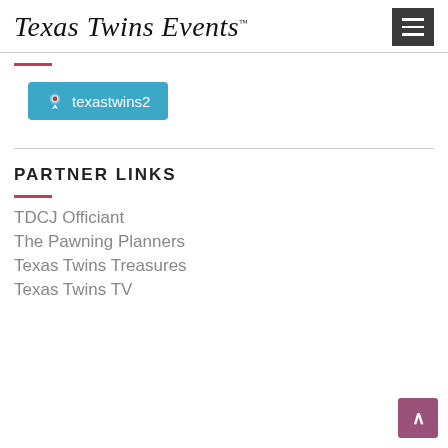Texas Twins Events
[Figure (logo): Texas Twins Events cursive logo with TM mark and hamburger menu button]
[Figure (other): Periscope/location button with texastwins2 username on teal background]
PARTNER LINKS
TDCJ Officiant
The Pawning Planners
Texas Twins Treasures
Texas Twins TV